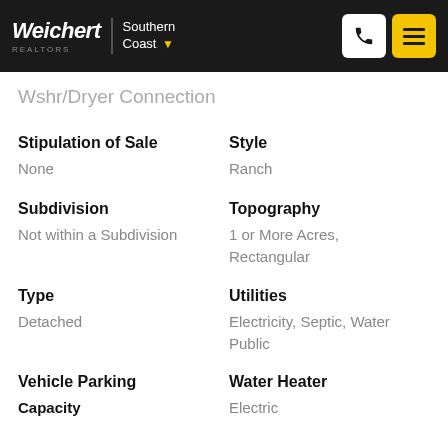Weichert | Southern Coast
Wshr/Dryer Connection
Stipulation of Sale
None
Style
Ranch
Subdivision
Not within a Subdivision
Topography
1 or More Acres, Rectangular
Type
Detached
Utilities
Electricity, Septic, Water Public
Vehicle Parking Capacity
Water Heater
Electric